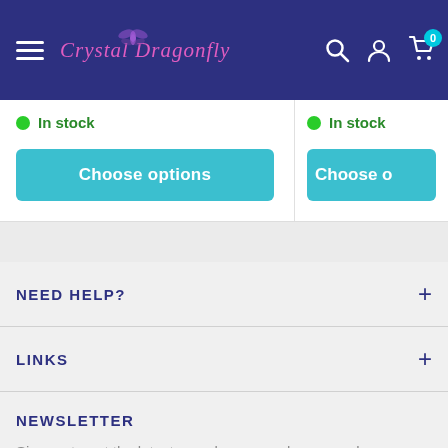Crystal Dragonfly - navigation bar with hamburger menu, logo, search, account and cart icons
In stock
Choose options
In stock
Choose o
NEED HELP?
LINKS
NEWSLETTER
Sign up to get the latest on sales, new releases and more...